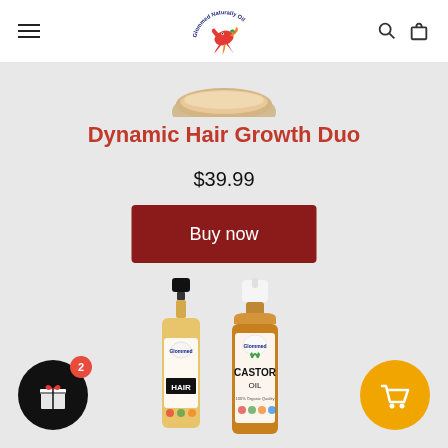Glommed Naturally Oil — navigation header with hamburger menu, logo, search and cart icons
[Figure (photo): Partial product image visible at top of page, cropped]
Dynamic Hair Growth Duo
$39.99
Buy now
[Figure (photo): Two product bottles: Hair Oil with black dropper cap and Castor Oil with white pump cap, both with Glommed Naturally Oil branding]
[Figure (infographic): Gift icon button with badge showing 2, black circular button bottom left]
[Figure (infographic): Shopping cart icon, orange circular button bottom right]